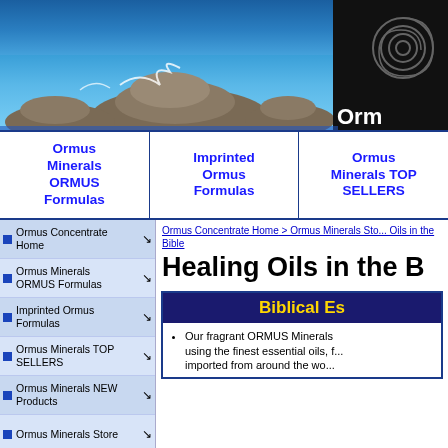[Figure (photo): Header banner showing ocean rocks with waves crashing, blue sky and water. Ormus logo text visible in dark upper-right corner.]
Ormus Minerals ORMUS Formulas | Imprinted Ormus Formulas | Ormus Minerals TOP SELLERS
Ormus Concentrate Home
Ormus Minerals ORMUS Formulas
Imprinted Ormus Formulas
Ormus Minerals TOP SELLERS
Ormus Minerals NEW Products
Ormus Minerals Store
Ormus Minerals
Ormus Concentrate Home > Ormus Minerals Store > Oils in the Bible
Healing Oils in the B...
Biblical Es...
Our fragrant ORMUS Minerals ... using the finest essential oils, f... imported from around the wo...